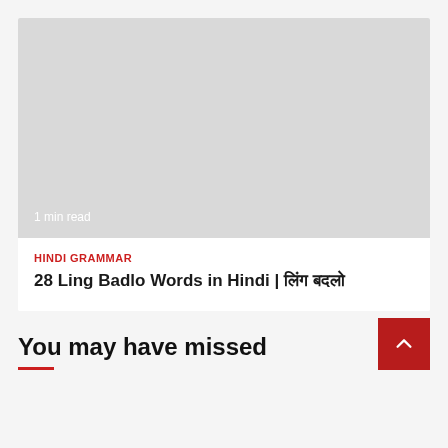[Figure (photo): Grey placeholder image with '1 min read' text in white at bottom left]
HINDI GRAMMAR
28 Ling Badlo Words in Hindi | लिंग बदलो
You may have missed